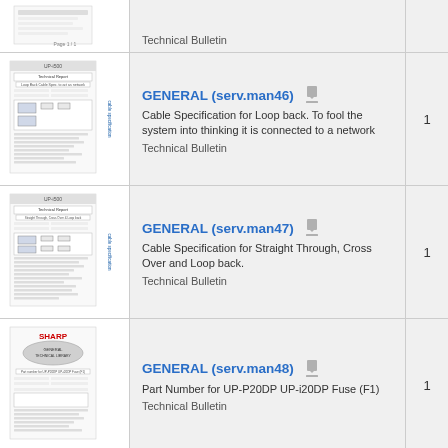Technical Bulletin
GENERAL (serv.man46)
Cable Specification for Loop back. To fool the system into thinking it is connected to a network
Technical Bulletin
GENERAL (serv.man47)
Cable Specification for Straight Through, Cross Over and Loop back.
Technical Bulletin
GENERAL (serv.man48)
Part Number for UP-P20DP UP-i20DP Fuse (F1)
Technical Bulletin